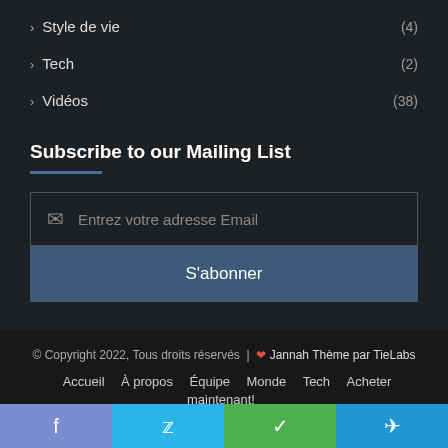Style de vie (4)
Tech (2)
Vidéos (38)
Subscribe to our Mailing List
Entrez votre adresse Email
S'abonner
© Copyright 2022, Tous droits réservés | ❤ Jannah Thème par TieLabs
Accueil   À propos   Équipe   Monde   Tech   Acheter maintenant!
f  y  yt  ig